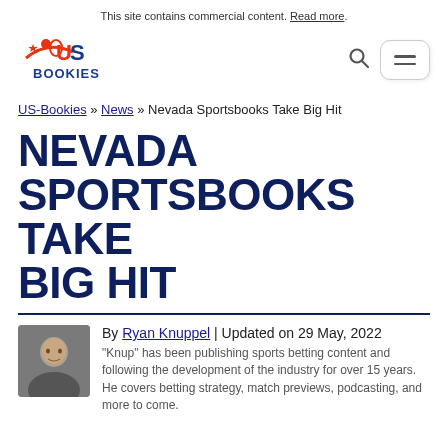This site contains commercial content. Read more.
[Figure (logo): US Bookies logo — stylized text 'US BOOKIES' with red/orange star and figure icon]
US-Bookies » News » Nevada Sportsbooks Take Big Hit
NEVADA SPORTSBOOKS TAKE BIG HIT
[Figure (photo): Author headshot photo of Ryan Knuppel]
By Ryan Knuppel | Updated on 29 May, 2022
"Knup" has been publishing sports betting content and following the development of the industry for over 15 years. He covers betting strategy, match previews, podcasting, and more to come.